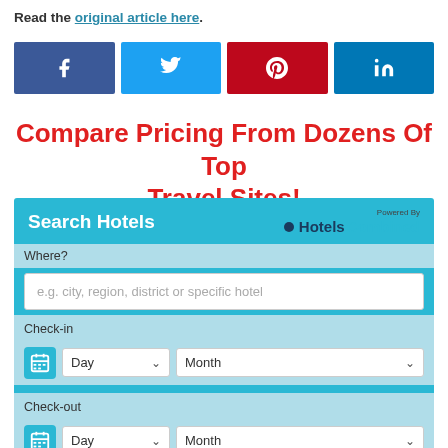Read the original article here.
[Figure (infographic): Social share buttons: Facebook, Twitter, Pinterest, LinkedIn]
Compare Pricing From Dozens Of Top Travel Sites!
[Figure (screenshot): Hotel search widget with fields: Where?, Check-in (Day/Month), Check-out (Day/Month), I don't have specific dates yet. Powered by HotelsCombined.]